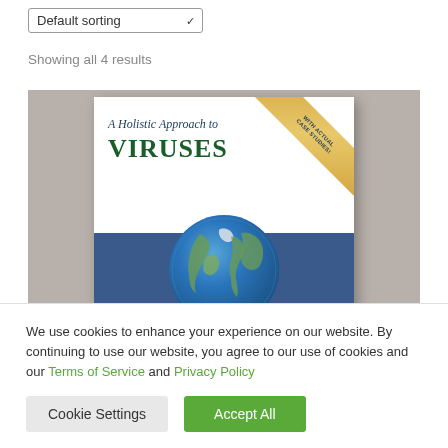Default sorting
Showing all 4 results
[Figure (photo): Book cover of 'A Holistic Approach to VIRUSES' with a gold ribbon banner reading 'WITH ACTUAL CASE STUDIES', a globe image at the bottom on a blue background, displayed on a gray surface]
We use cookies to enhance your experience on our website. By continuing to use our website, you agree to our use of cookies and our Terms of Service and Privacy Policy
Cookie Settings
Accept All